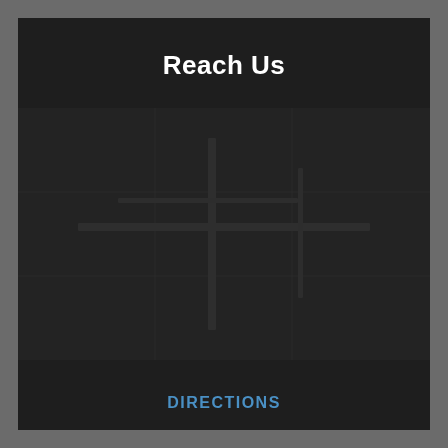Reach Us
[Figure (map): Dark map area showing location for directions]
DIRECTIONS